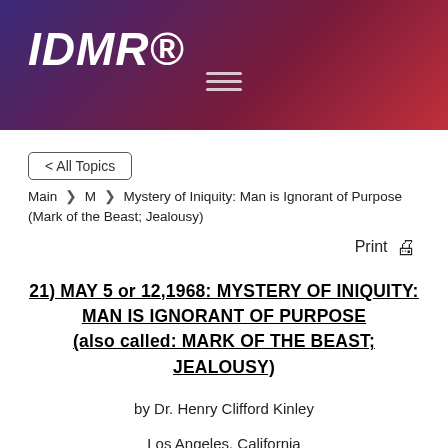IDMR®
< All Topics
Main > M > Mystery of Iniquity: Man is Ignorant of Purpose (Mark of the Beast; Jealousy)
Print
21) MAY 5 or 12,1968: MYSTERY OF INIQUITY: MAN IS IGNORANT OF PURPOSE (also called: MARK OF THE BEAST; JEALOUSY)
by Dr. Henry Clifford Kinley
Los Angeles, California